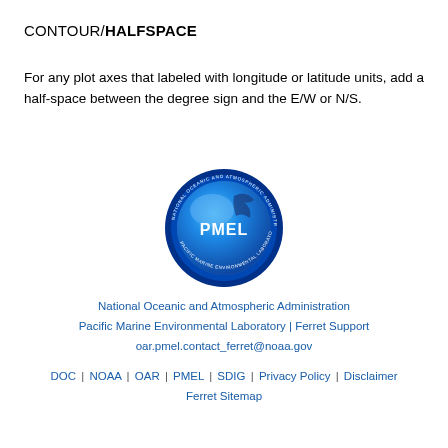CONTOUR/HALFSPACE
For any plot axes that labeled with longitude or latitude units, add a half-space between the degree sign and the E/W or N/S.
[Figure (logo): NOAA PMEL circular logo showing a globe with text 'NATIONAL OCEANIC AND ATMOSPHERIC ADMINISTRATION PACIFIC MARINE ENVIRONMENTAL LABORATORY' around the border and 'PMEL' in white text in the center]
National Oceanic and Atmospheric Administration
Pacific Marine Environmental Laboratory | Ferret Support
oar.pmel.contact_ferret@noaa.gov
DOC | NOAA | OAR | PMEL | SDIG | Privacy Policy | Disclaimer
Ferret Sitemap